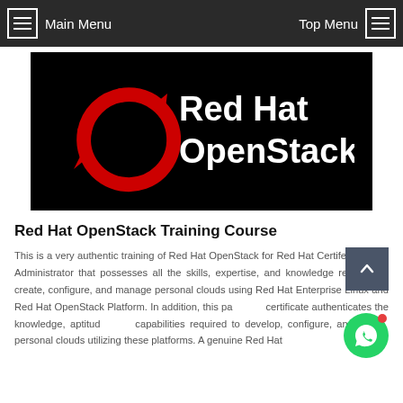Main Menu | Top Menu
[Figure (logo): Red Hat OpenStack logo on black background — red circular arrow icon with 'Red Hat OpenStack' text in white]
Red Hat OpenStack Training Course
This is a very authentic training of Red Hat OpenStack for Red Hat Certifed System Administrator that possesses all the skills, expertise, and knowledge required to create, configure, and manage personal clouds using Red Hat Enterprise Linux and Red Hat OpenStack Platform. In addition, this particular certificate authenticates the knowledge, aptitude, and capabilities required to develop, configure, and handle personal clouds utilizing these platforms. A genuine Red Hat